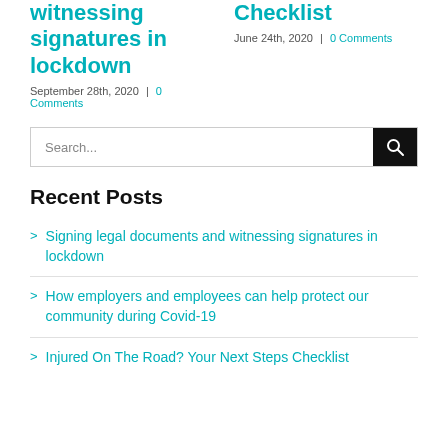witnessing signatures in lockdown
September 28th, 2020 | 0 Comments
Checklist
June 24th, 2020 | 0 Comments
Recent Posts
Signing legal documents and witnessing signatures in lockdown
How employers and employees can help protect our community during Covid-19
Injured On The Road? Your Next Steps Checklist